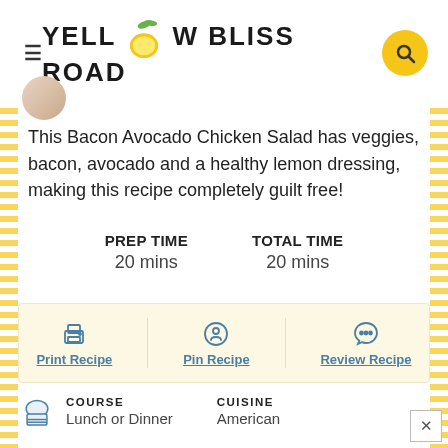YELLOW BLISS ROAD
This Bacon Avocado Chicken Salad has veggies, bacon, avocado and a healthy lemon dressing, making this recipe completely guilt free!
| PREP TIME | TOTAL TIME |
| --- | --- |
| 20 mins | 20 mins |
[Figure (infographic): Action buttons row: Print Recipe, Pin Recipe, Review Recipe with icons on yellow background]
| COURSE | CUISINE |
| --- | --- |
| Lunch or Dinner | American |
| SERVINGS | CALORIES |
| --- | --- |
| 4 servings | 462 kcal |